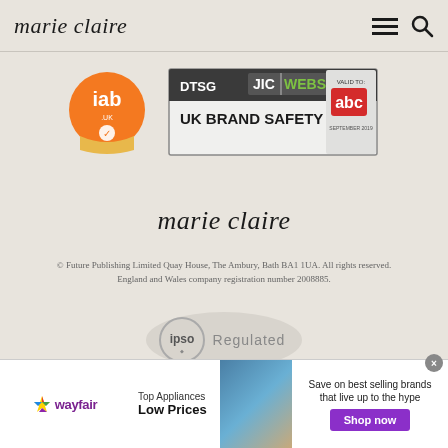marie claire
[Figure (logo): IAB UK member badge — orange circular logo with 'iab .UK' text and gold ribbon at bottom]
[Figure (logo): DTSG JIC WEBS UK Brand Safety badge with abc logo, Valid to September 2019]
marie claire
© Future Publishing Limited Quay House, The Ambury, Bath BA1 1UA. All rights reserved. England and Wales company registration number 2008885.
[Figure (logo): IPSO Regulated badge — circular grey emblem with ribbon]
[Figure (logo): Social media icons row (four dark circles)]
[Figure (other): Wayfair advertisement banner: Top Appliances Low Prices, Save on best selling brands that live up to the hype, Shop now button]